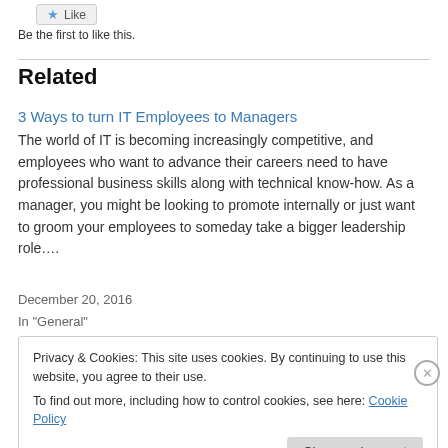[Figure (other): Like button with star icon]
Be the first to like this.
Related
3 Ways to turn IT Employees to Managers
The world of IT is becoming increasingly competitive, and employees who want to advance their careers need to have professional business skills along with technical know-how. As a manager, you might be looking to promote internally or just want to groom your employees to someday take a bigger leadership role....
December 20, 2016
In "General"
Privacy & Cookies: This site uses cookies. By continuing to use this website, you agree to their use. To find out more, including how to control cookies, see here: Cookie Policy
Close and accept